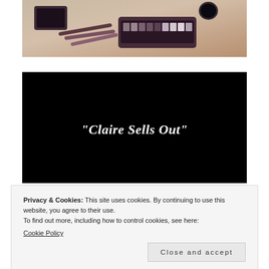[Figure (photo): Photo of makeup products including an eyeshadow palette, lip pencils, and other cosmetics laid out on a surface]
[Figure (screenshot): Black video thumbnail with white bold italic text reading: "Claire Sells Out"]
Privacy & Cookies: This site uses cookies. By continuing to use this website, you agree to their use.
To find out more, including how to control cookies, see here:
Cookie Policy
Close and accept